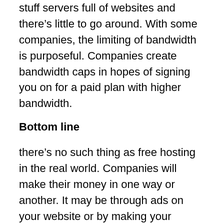stuff servers full of websites and there's little to go around. With some companies, the limiting of bandwidth is purposeful. Companies create bandwidth caps in hopes of signing you on for a paid plan with higher bandwidth.
Bottom line
there's no such thing as free hosting in the real world. Companies will make their money in one way or another. It may be through ads on your website or by making your hosting experience so frustrating that you'll end up buying a paid plan. And once you do start paying, costs start adding up.